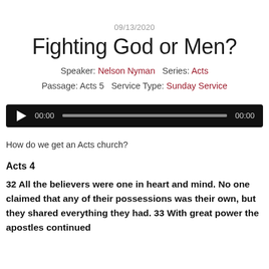09/13/2020
Fighting God or Men?
Speaker: Nelson Nyman   Series: Acts   Passage: Acts 5   Service Type: Sunday Service
[Figure (other): Audio player with play button, time counter 00:00, progress bar, and duration 00:00 on black background]
How do we get an Acts church?
Acts 4
32 All the believers were one in heart and mind. No one claimed that any of their possessions was their own, but they shared everything they had. 33 With great power the apostles continued